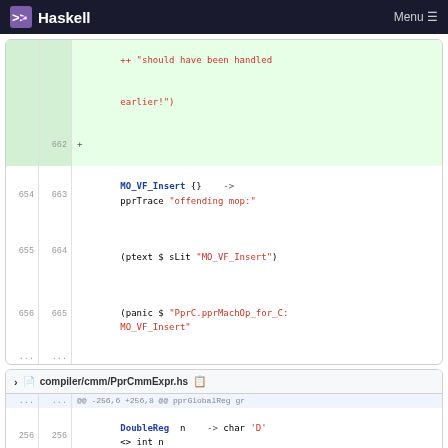Haskell  Menu
[Figure (screenshot): Code diff block for compiler/cmm/PprCmmExpr.hs (first block), showing lines 654-656 / 663-665 with MO_VF_Insert pattern match and panic call in a Haskell source diff]
[Figure (screenshot): Code diff block for compiler/cmm/PprCmmExpr.hs (second block), showing lines 256-258 with DoubleReg, LongReg, XmmReg pattern matches]